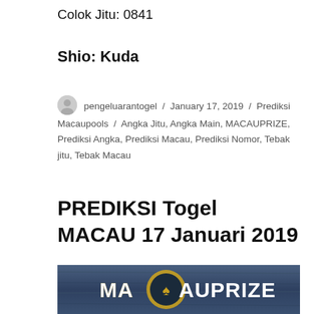Colok Jitu: 0841
Shio: Kuda
pengeluarantogel / January 17, 2019 / Prediksi Macaupools / Angka Jitu, Angka Main, MACAUPRIZE, Prediksi Angka, Prediksi Macau, Prediksi Nomor, Tebak jitu, Tebak Macau
PREDIKSI Togel MACAU 17 Januari 2019
[Figure (photo): MACAUPRIZE banner image with text logo on dark wood background]